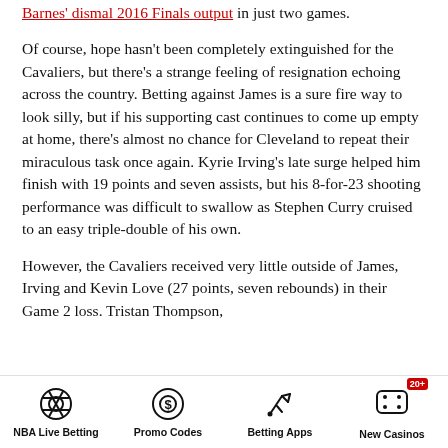Barnes' dismal 2016 Finals output in just two games.
Of course, hope hasn't been completely extinguished for the Cavaliers, but there's a strange feeling of resignation echoing across the country. Betting against James is a sure fire way to look silly, but if his supporting cast continues to come up empty at home, there's almost no chance for Cleveland to repeat their miraculous task once again. Kyrie Irving's late surge helped him finish with 19 points and seven assists, but his 8-for-23 shooting performance was difficult to swallow as Stephen Curry cruised to an easy triple-double of his own.
However, the Cavaliers received very little outside of James, Irving and Kevin Love (27 points, seven rebounds) in their Game 2 loss. Tristan Thompson,
NBA Live Betting | Promo Codes | Betting Apps | New Casinos